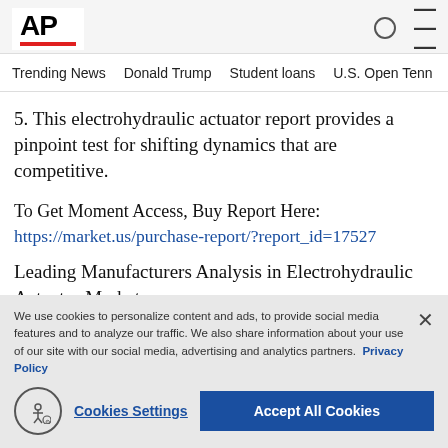AP
Trending News   Donald Trump   Student loans   U.S. Open Tenn
5. This electrohydraulic actuator report provides a pinpoint test for shifting dynamics that are competitive.
To Get Moment Access, Buy Report Here:
https://market.us/purchase-report/?report_id=17527
Leading Manufacturers Analysis in Electrohydraulic Actuator Market:
We use cookies to personalize content and ads, to provide social media features and to analyze our traffic. We also share information about your use of our site with our social media, advertising and analytics partners. Privacy Policy
Cookies Settings
Accept All Cookies